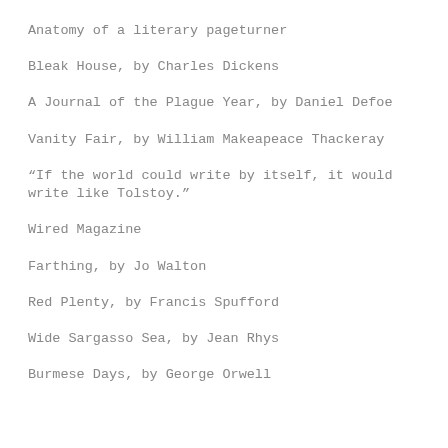Anatomy of a literary pageturner
Bleak House, by Charles Dickens
A Journal of the Plague Year, by Daniel Defoe
Vanity Fair, by William Makeapeace Thackeray
“If the world could write by itself, it would write like Tolstoy.”
Wired Magazine
Farthing, by Jo Walton
Red Plenty, by Francis Spufford
Wide Sargasso Sea, by Jean Rhys
Burmese Days, by George Orwell